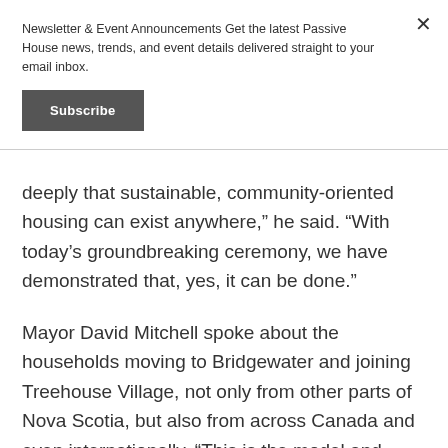Newsletter & Event Announcements Get the latest Passive House news, trends, and event details delivered straight to your email inbox.
Subscribe
deeply that sustainable, community-oriented housing can exist anywhere,” he said. “With today’s groundbreaking ceremony, we have demonstrated that, yes, it can be done.”
Mayor David Mitchell spoke about the households moving to Bridgewater and joining Treehouse Village, not only from other parts of Nova Scotia, but also from across Canada and even internationally. “This is the model and